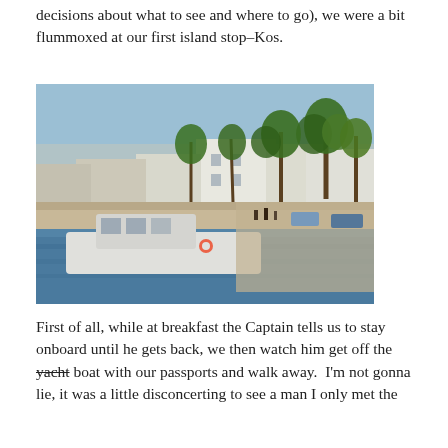decisions about what to see and where to go), we were a bit flummoxed at our first island stop–Kos.
[Figure (photo): A harbor scene in Kos, Greece. A white motor yacht is docked at a pier in calm blue water. Palm trees and white Mediterranean-style buildings line the waterfront promenade. Cars and people are visible along the dock.]
First of all, while at breakfast the Captain tells us to stay onboard until he gets back, we then watch him get off the yacht boat with our passports and walk away.  I'm not gonna lie, it was a little disconcerting to see a man I only met the